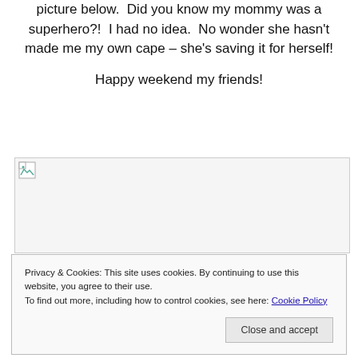picture below.  Did you know my mommy was a superhero?!  I had no idea.  No wonder she hasn't made me my own cape – she's saving it for herself!

Happy weekend my friends!
[Figure (photo): Broken/placeholder image icon in top-left corner of a large image area with light gray background]
Privacy & Cookies: This site uses cookies. By continuing to use this website, you agree to their use.
To find out more, including how to control cookies, see here: Cookie Policy

Close and accept